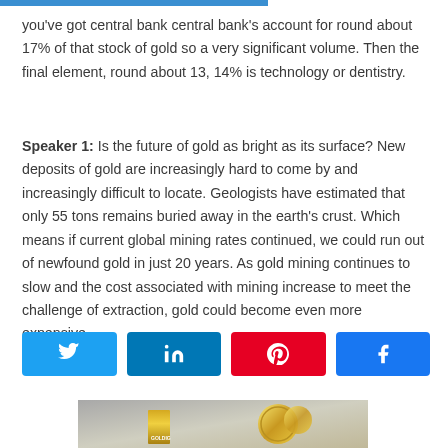you've got central bank central bank's account for round about 17% of that stock of gold so a very significant volume. Then the final element, round about 13, 14% is technology or dentistry.
Speaker 1: Is the future of gold as bright as its surface? New deposits of gold are increasingly hard to come by and increasingly difficult to locate. Geologists have estimated that only 55 tons remains buried away in the earth's crust. Which means if current global mining rates continued, we could run out of newfound gold in just 20 years. As gold mining continues to slow and the cost associated with mining increase to meet the challenge of extraction, gold could become even more expensive.
[Figure (other): Social media share buttons: Twitter (blue), LinkedIn (dark blue), Pinterest (red), Facebook (blue) with respective icons]
[Figure (photo): Partial view of gold bars and gold coins at the bottom of the page]